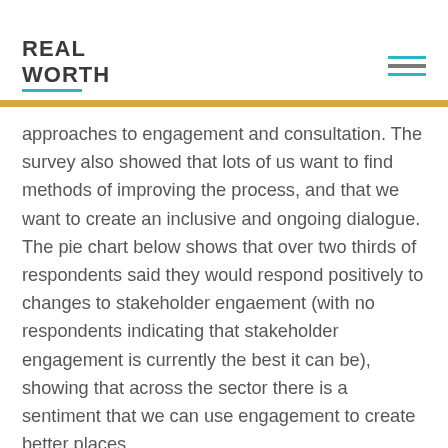REAL WORTH
approaches to engagement and consultation. The survey also showed that lots of us want to find methods of improving the process, and that we want to create an inclusive and ongoing dialogue. The pie chart below shows that over two thirds of respondents said they would respond positively to changes to stakeholder engaement (with no respondents indicating that stakeholder engagement is currently the best it can be), showing that across the sector there is a sentiment that we can use engagement to create better places.